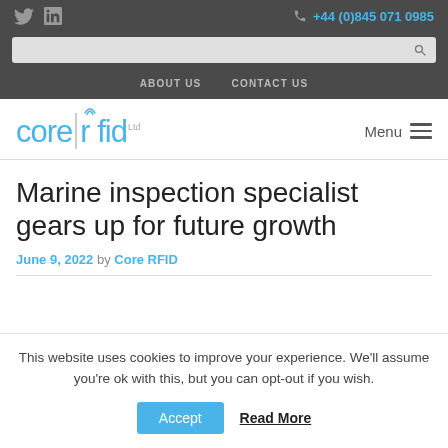Twitter LinkedIn +44 (0)845 071 0985
ABOUT US  CONTACT US
[Figure (logo): Core RFID Ltd logo with wifi signal icon above the 'r' in rfid]
Marine inspection specialist gears up for future growth
June 9, 2022 by Core RFID
This website uses cookies to improve your experience. We'll assume you're ok with this, but you can opt-out if you wish.
Accept  Read More